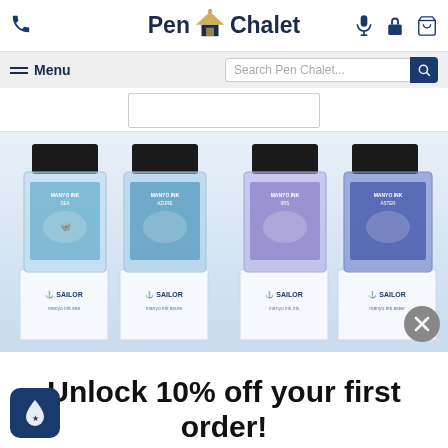[Figure (logo): Pen Chalet logo with pen chalet house icon between 'Pen' and 'Chalet' text]
[Figure (screenshot): Pen Chalet e-commerce website header with navigation bar, search bar, and product image showing four Sailor ink bottles in blue/purple tones with white boxes labeled SAILOR]
Unlock 10% off your first order!